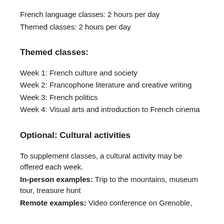French language classes: 2 hours per day
Themed classes: 2 hours per day
Themed classes:
Week 1: French culture and society
Week 2: Francophone literature and creative writing
Week 3: French politics
Week 4: Visual arts and introduction to French cinema
Optional: Cultural activities
To supplement classes, a cultural activity may be offered each week.
In-person examples: Trip to the mountains, museum tour, treasure hunt
Remote examples: Video conference on Grenoble,